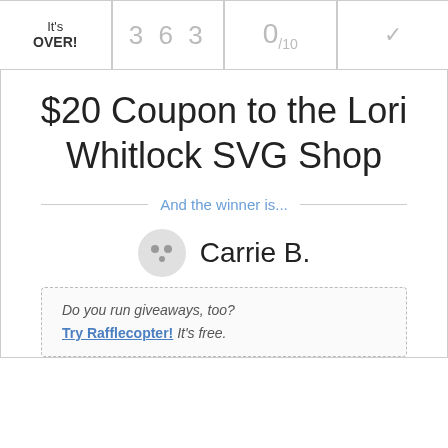It's OVER! | 3 6 3 | 0/10
$20 Coupon to the Lori Whitlock SVG Shop
And the winner is...
Carrie B.
Do you run giveaways, too? Try Rafflecopter! It's free.